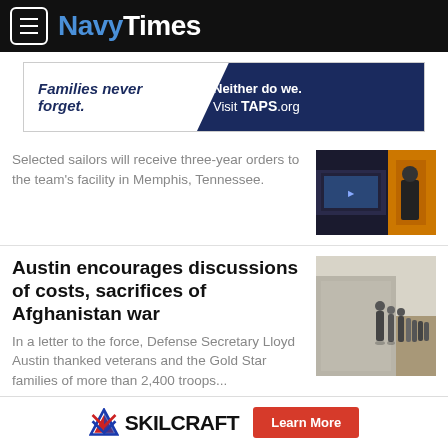NavyTimes
[Figure (other): TAPS.org advertisement banner: 'Families never forget. Neither do we. Visit TAPS.org']
Selected sailors will receive three-year orders to the team's facility in Memphis, Tennessee.
[Figure (photo): Photo related to Navy esports/gaming team]
Austin encourages discussions of costs, sacrifices of Afghanistan war
In a letter to the force, Defense Secretary Lloyd Austin thanked veterans and the Gold Star families of more than 2,400 troops...
[Figure (photo): Photo of people gathered on tarmac, Afghanistan evacuation scene]
VA extends debt collection relief until
[Figure (photo): Photo of money/cash, related to VA debt collection]
SKILCRAFT Learn More